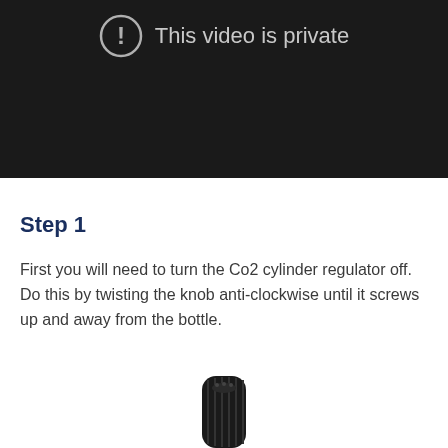[Figure (screenshot): Video player showing 'This video is private' message with a circle exclamation icon on a dark background]
Step 1
First you will need to turn the Co2 cylinder regulator off. Do this by twisting the knob anti-clockwise until it screws up and away from the bottle.
[Figure (photo): A black cylindrical knob or regulator cap, shown from above, with ribbed/fluted sides]